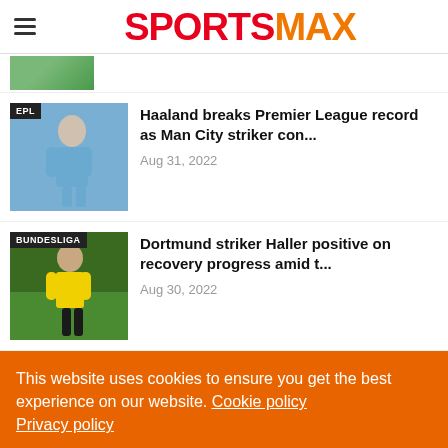SPORTSMAX
[Figure (photo): Partial thumbnail of a sports photo at top, partially cut off]
Haaland breaks Premier League record as Man City striker con...
Aug 31, 2022
Dortmund striker Haller positive on recovery progress amid t...
Aug 30, 2022
This website uses cookies to ensure you get the best experience on our website. Cookie policy Privacy policy
Decline
Allow cookies